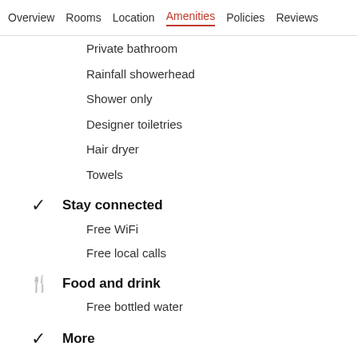Overview   Rooms   Location   Amenities   Policies   Reviews
Private bathroom
Rainfall showerhead
Shower only
Designer toiletries
Hair dryer
Towels
Stay connected
Free WiFi
Free local calls
Food and drink
Free bottled water
More
Daily housekeeping
In-room safe (laptop compatible)